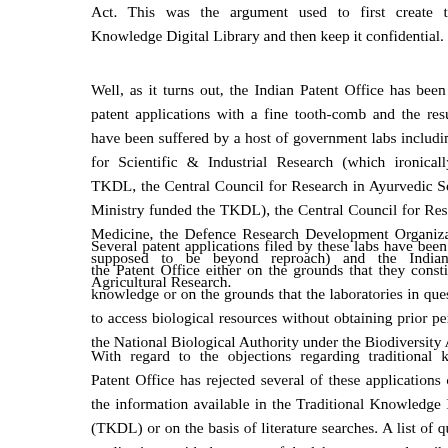Act. This was the argument used to first create the Traditional Knowledge Digital Library and then keep it confidential.
Well, as it turns out, the Indian Patent Office has been going through patent applications with a fine tooth-comb and the resulting fatalities have been suffered by a host of government labs including: the Council for Scientific & Industrial Research (which ironically controls the TKDL, the Central Council for Research in Ayurvedic Sciences (whose Ministry funded the TKDL), the Central Council for Research of Unani Medicine, the Defence Research Development Organization (which is supposed to be beyond reproach) and the Indian Council for Agricultural Research.
Several patent applications filed by these labs have been objected to by the Patent Office either on the grounds that they constitute traditional knowledge or on the grounds that the laboratories in question are trying to access biological resources without obtaining prior permissions from the National Biological Authority under the Biodiversity Act.
With regard to the objections regarding traditional knowledge, the Patent Office has rejected several of these applications on the basis of the information available in the Traditional Knowledge Digital Library (TKDL) or on the basis of literature searches. A list of quite a few such applications, with the names of the laboratory are described below.